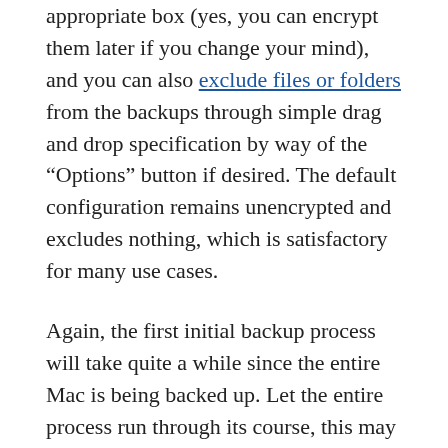appropriate box (yes, you can encrypt them later if you change your mind), and you can also exclude files or folders from the backups through simple drag and drop specification by way of the “Options” button if desired. The default configuration remains unencrypted and excludes nothing, which is satisfactory for many use cases.
Again, the first initial backup process will take quite a while since the entire Mac is being backed up. Let the entire process run through its course, this may be best done overnight if the primary Mac hard drive is enormous since it can several hours to perform the initial backup. Backups performed after the initial sequence will be much faster and smaller, because they will be delta backups, focusing on files that have been added, deleted, or changed from the Mac, rather than just copying the entire drive and it’s untouched contents over